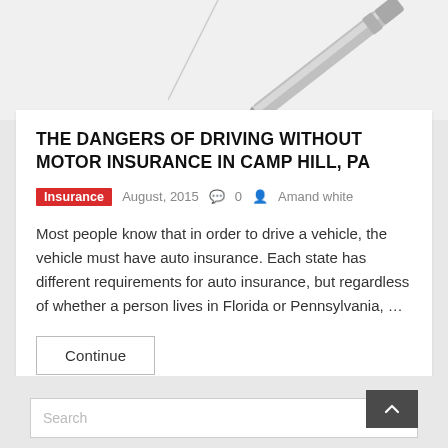[Figure (photo): Partial view of a pen on a white surface, top portion of the page]
THE DANGERS OF DRIVING WITHOUT MOTOR INSURANCE IN CAMP HILL, PA
Insurance   August, 2015   0   Amand white
Most people know that in order to drive a vehicle, the vehicle must have auto insurance. Each state has different requirements for auto insurance, but regardless of whether a person lives in Florida or Pennsylvania, …
Continue
Search